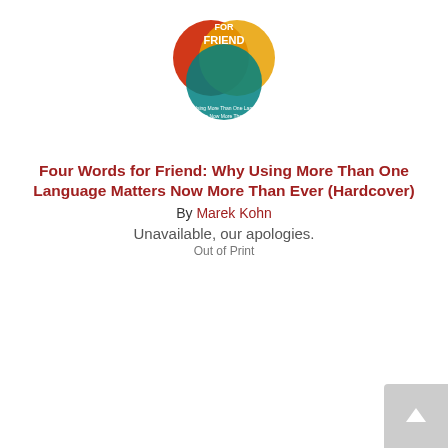[Figure (photo): Book cover of 'Four Words for Friend' showing overlapping Venn diagram circles in red, yellow, teal with text]
Four Words for Friend: Why Using More Than One Language Matters Now More Than Ever (Hardcover)
By Marek Kohn
Unavailable, our apologies.
Out of Print
[Figure (photo): Book cover of 'Punctuations: How the Arts Think the Political' with black background, spaced letters PUNC.TU.A.TION.S and a black-and-white landscape photo below]
Punctuations: How the Arts Think the Political (Paperback)
By Michael J. Shapiro
$25.95
ADD TO CART
ADD TO WISH LIST